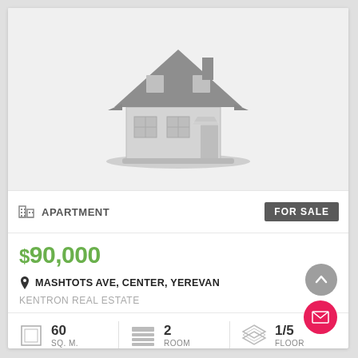[Figure (illustration): Gray placeholder house icon on light gray background]
APARTMENT
FOR SALE
$90,000
MASHTOTS AVE, CENTER, YEREVAN
KENTRON REAL ESTATE
60 SQ. M.
2 ROOM
1/5 FLOOR